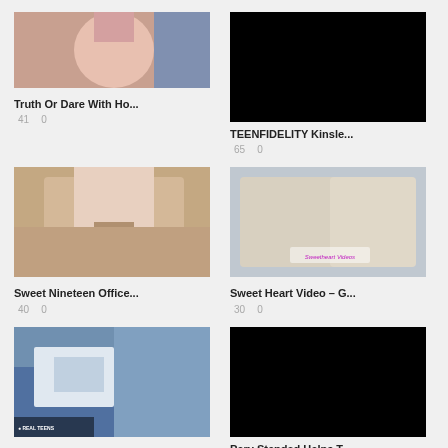[Figure (photo): Thumbnail image - partially visible at top]
Truth Or Dare With Ho...
41   0
[Figure (photo): Black thumbnail]
TEENFIDELITY Kinsle...
65   0
[Figure (photo): Video thumbnail]
Sweet Nineteen Office...
40   0
[Figure (photo): Video thumbnail - Sweetheart Videos]
Sweet Heart Video – G...
30   0
[Figure (photo): Real Teens thumbnail - yacht]
Real Teens – Tattooed...
62   0
[Figure (photo): Black thumbnail]
Perv Stepdad Helps T...
11   0
[Figure (photo): Partially visible thumbnail bottom left]
[Figure (photo): Partially visible thumbnail bottom right]